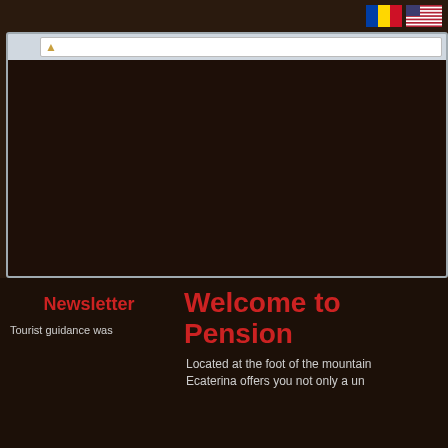[Figure (screenshot): Website screenshot of Pension (guesthouse) homepage showing browser frame with dark brown header image, navigation bar with HOME (red), ACCOMMODATION, RESTAURANT, ACTIVITIES, ATTRACTIONS tabs, language flags (Romanian and US), newsletter section on left, and welcome text on right]
Newsletter
Tourist guidance was
Welcome to Pension
Located at the foot of the mountain, Ecaterina offers you not only a un